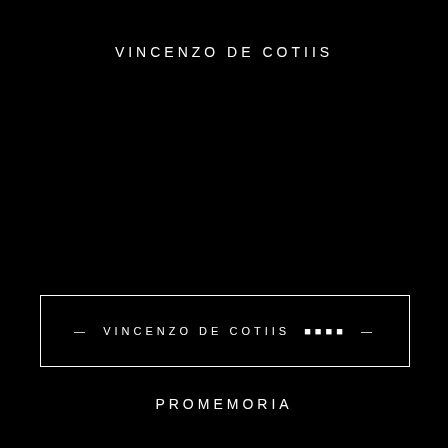VINCENZO DE COTIIS
— VINCENZO DE COTIIS □□□□ —
PROMEMORIA